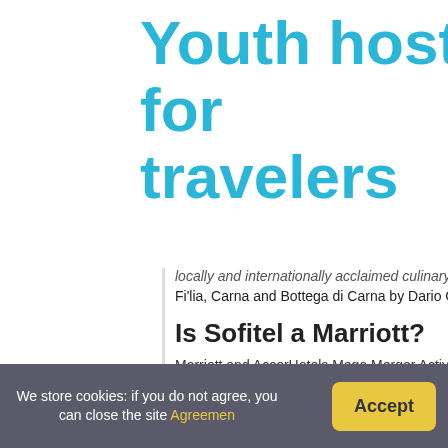Youth hostel for travelers
locally and internationally acclaimed culinary and rig...
Fi'lia, Carna and Bottega di Carna by Dario Cecchini, Leyn...
Is Sofitel a Marriott?
Marriott and AccorHotels Mega Merger Activity Create... Fairmont, Raffles, Swissotel, Sofitel, Sofitel Legend, So/Sc...
Are all design hotels part of Marriott?
Design Hotels is member of Marriott Bonvoy™. You can m... select Design Hotels properties, booked via www.marrio...
Does SLS have a casino?
We store cookies: if you do not agree, you can close the site Agreemen
Accept